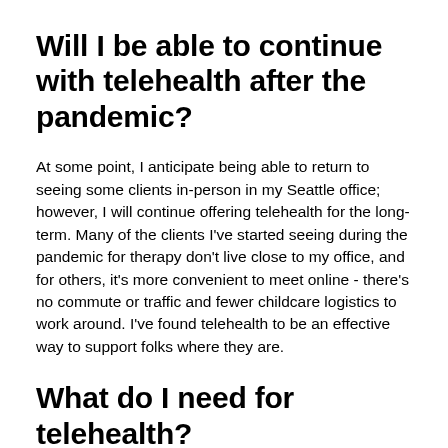Will I be able to continue with telehealth after the pandemic?
At some point, I anticipate being able to return to seeing some clients in-person in my Seattle office; however, I will continue offering telehealth for the long-term. Many of the clients I've started seeing during the pandemic for therapy don't live close to my office, and for others, it's more convenient to meet online - there's no commute or traffic and fewer childcare logistics to work around. I've found telehealth to be an effective way to support folks where they are.
What do I need for telehealth?
Before the session make sure you have